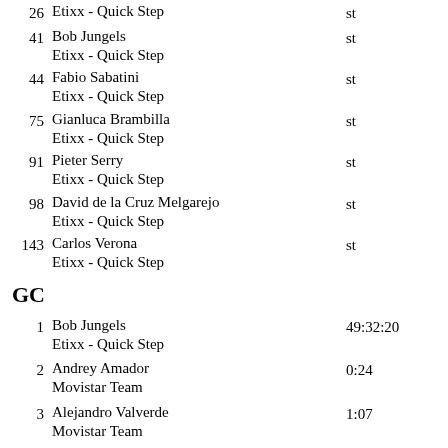26 Etixx - Quick Step st
41 Bob Jungels Etixx - Quick Step st
44 Fabio Sabatini Etixx - Quick Step st
75 Gianluca Brambilla Etixx - Quick Step st
91 Pieter Serry Etixx - Quick Step st
98 David de la Cruz Melgarejo Etixx - Quick Step st
143 Carlos Verona Etixx - Quick Step st
GC
1 Bob Jungels Etixx - Quick Step 49:32:20
2 Andrey Amador Movistar Team 0:24
3 Alejandro Valverde Movistar Team 1:07